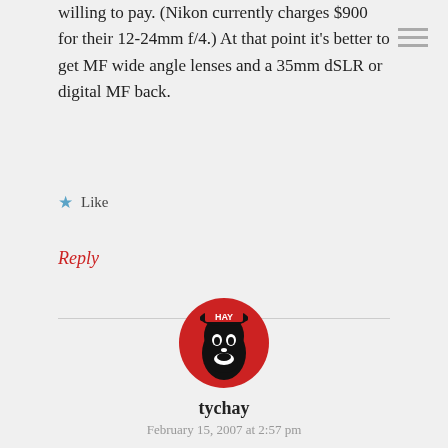willing to pay. (Nikon currently charges $900 for their 12-24mm f/4.) At that point it's better to get MF wide angle lenses and a 35mm dSLR or digital MF back.
Like
Reply
[Figure (illustration): Circular avatar with red background showing a stylized Che Guevara silhouette illustration with 'HAY' text at top]
tychay
February 15, 2007 at 2:57 pm
@Patrick:
Good points all of them.
I'll debate the High ISO noise because the Fuji sensor